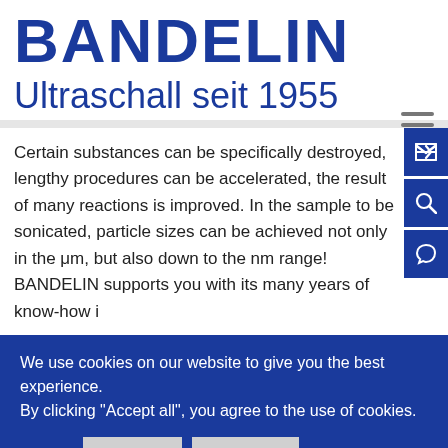BANDELIN
Ultraschall seit 1955
Certain substances can be specifically destroyed, lengthy procedures can be accelerated, the result of many reactions is improved. In the sample to be sonicated, particle sizes can be achieved not only in the μm, but also down to the nm range! BANDELIN supports you with its many years of know-how i
We use cookies on our website to give you the best experience. By clicking "Accept all", you agree to the use of cookies.
Accept
Settings
Ablehnen